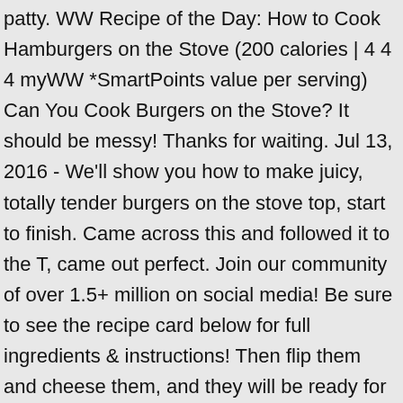patty. WW Recipe of the Day: How to Cook Hamburgers on the Stove (200 calories | 4 4 4 myWW *SmartPoints value per serving) Can You Cook Burgers on the Stove? It should be messy! Thanks for waiting. Jul 13, 2016 - We'll show you how to make juicy, totally tender burgers on the stove top, start to finish. Came across this and followed it to the T, came out perfect. Join our community of over 1.5+ million on social media! Be sure to see the recipe card below for full ingredients & instructions! Then flip them and cheese them, and they will be ready for the table in another two to three minutes of cooking. Upload an image or tag me @thecookierookie on Instagram! These Stovetop Burgers are the type of meal I could eat every day for the rest of my life. Cook bacon in microwave or frying pan until crisp and set aside. Cook the burgers until nicely seared and they have browned halfway up the sides. If you're making it on the stove top, use a medium-sized stockpot or dutch oven. I finally made some awesome stove top burgers! Or is that a deal breaker?Thanks in advance. Perfect burger recipe natashaskitchen how to cook perfect cast